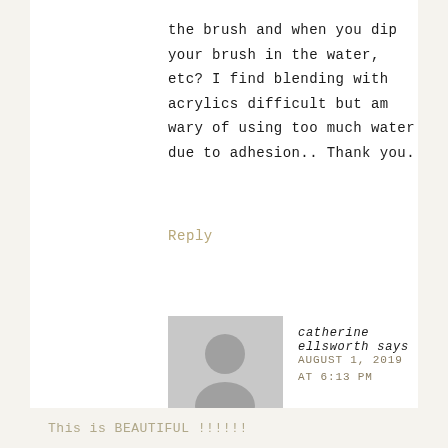the brush and when you dip your brush in the water, etc? I find blending with acrylics difficult but am wary of using too much water due to adhesion.. Thank you.
Reply
[Figure (illustration): Gray placeholder avatar silhouette showing a person outline (head circle and shoulders) on a light gray square background]
catherine ellsworth says
AUGUST 1, 2019 AT 6:13 PM
This is BEAUTIFUL !!!!!!